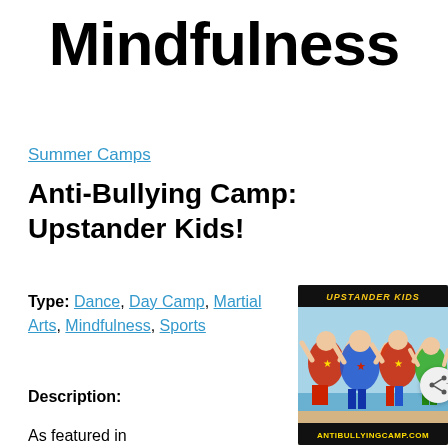Mindfulness
Summer Camps
Anti-Bullying Camp: Upstander Kids!
Type: Dance, Day Camp, Martial Arts, Mindfulness, Sports
[Figure (photo): Children dressed as superheroes with capes, arms raised, viewed from behind on a beach. Text overlay: UPSTANDER KIDS at top and ANTIBULLYINGCAMP.COM at bottom.]
Description:
As featured in